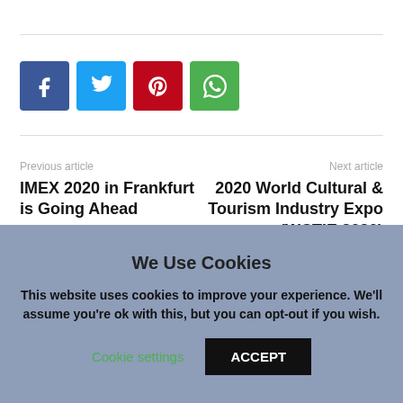[Figure (infographic): Social share buttons: Facebook (blue), Twitter (light blue), Pinterest (red), WhatsApp (green)]
Previous article
IMEX 2020 in Frankfurt is Going Ahead
Next article
2020 World Cultural & Tourism Industry Expo (WCTIE 2020)
We Use Cookies
This website uses cookies to improve your experience. We'll assume you're ok with this, but you can opt-out if you wish.
Cookie settings   ACCEPT